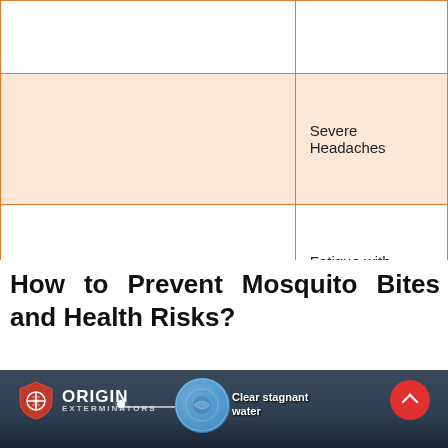|  |  |
|  | Severe Headaches |
|  | Fatigue with vomiting |
How to Prevent Mosquito Bites and Health Risks?
[Figure (photo): Origin Exterminators banner image showing city skyline at dusk with a water droplet graphic and text 'Clear stagnant water'. Red circular button with up chevron in top right corner.]